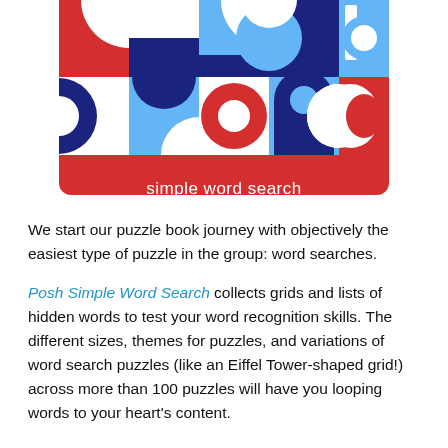[Figure (illustration): Book cover for 'simple word search' featuring a geometric pattern of red, dark blue, and light blue shapes (semicircles, rectangles) on white background, with a red banner at the bottom displaying 'simple word search' in white text.]
We start our puzzle book journey with objectively the easiest type of puzzle in the group: word searches.
Posh Simple Word Search collects grids and lists of hidden words to test your word recognition skills. The different sizes, themes for puzzles, and variations of word search puzzles (like an Eiffel Tower-shaped grid!) across more than 100 puzzles will have you looping words to your heart's content.